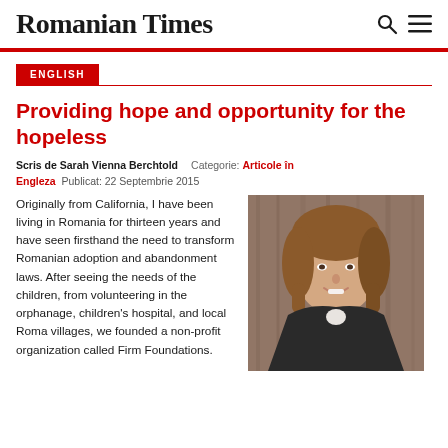Romanian Times
ENGLISH
Providing hope and opportunity for the hopeless
Scris de Sarah Vienna Berchtold   Categorie: Articole în Engleza   Publicat: 22 Septembrie 2015
Originally from California, I have been living in Romania for thirteen years and have seen firsthand the need to transform Romanian adoption and abandonment laws. After seeing the needs of the children, from volunteering in the orphanage, children's hospital, and local Roma villages, we founded a non-profit organization called Firm Foundations.
[Figure (photo): Portrait photo of Sarah Vienna Berchtold, a woman with brown hair, smiling, wearing a dark blazer, with a wooden background.]